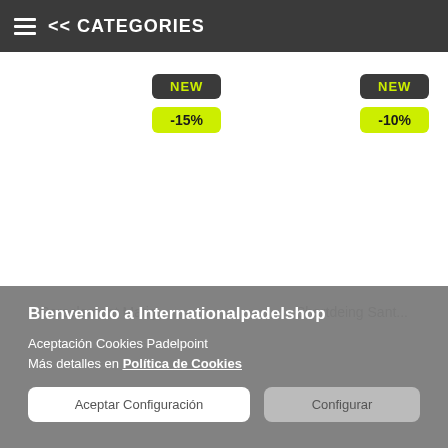<< CATEGORIES
[Figure (screenshot): Product listing area with two product cards each showing a 'NEW' badge and discount badge (-15% and -10%)]
Bienvenido a Internationalpadelshop
Aceptación Cookies Padelpoint
Más detalles en Política de Cookies
Aceptar Configuración
Configurar